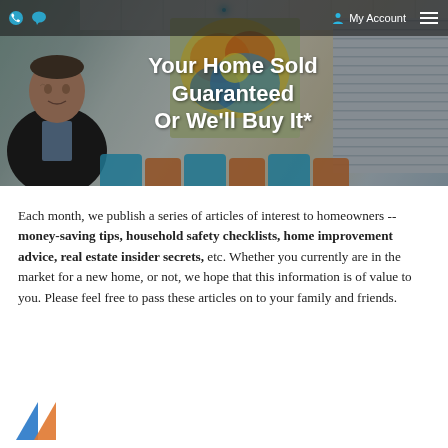My Account
[Figure (photo): Hero banner image showing a smiling man in a dark blazer on the left, a colorful abstract artwork in the center, shuttered windows on the right, and decorative pillows at the bottom, with a dark semi-transparent overlay]
Your Home Sold Guaranteed Or We'll Buy It*
Each month, we publish a series of articles of interest to homeowners -- money-saving tips, household safety checklists, home improvement advice, real estate insider secrets, etc. Whether you currently are in the market for a new home, or not, we hope that this information is of value to you. Please feel free to pass these articles on to your family and friends.
[Figure (logo): Partial logo at bottom left with orange and blue triangular shapes]